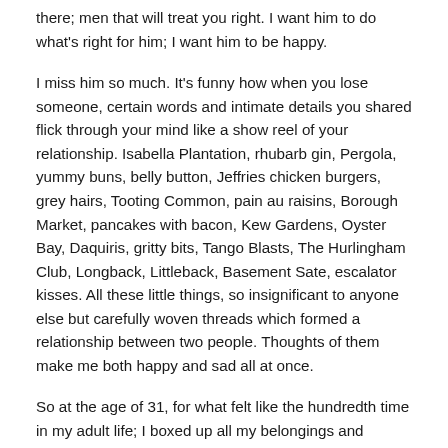there; men that will treat you right. I want him to do what's right for him; I want him to be happy.
I miss him so much. It's funny how when you lose someone, certain words and intimate details you shared flick through your mind like a show reel of your relationship. Isabella Plantation, rhubarb gin, Pergola, yummy buns, belly button, Jeffries chicken burgers, grey hairs, Tooting Common, pain au raisins, Borough Market, pancakes with bacon, Kew Gardens, Oyster Bay, Daquiris, gritty bits, Tango Blasts, The Hurlingham Club, Longback, Littleback, Basement Sate, escalator kisses. All these little things, so insignificant to anyone else but carefully woven threads which formed a relationship between two people. Thoughts of them make me both happy and sad all at once.
So at the age of 31, for what felt like the hundredth time in my adult life; I boxed up all my belongings and moved out of my flat. The sexy black lingerie with its labels still intact was